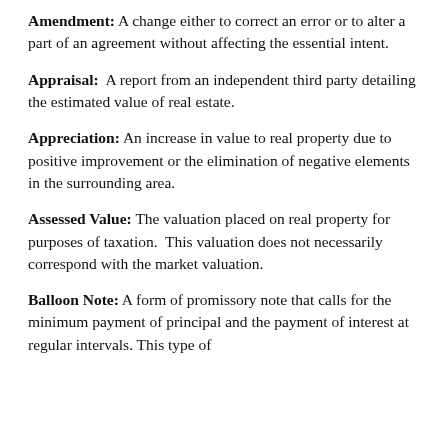Amendment: A change either to correct an error or to alter a part of an agreement without affecting the essential intent.
Appraisal: A report from an independent third party detailing the estimated value of real estate.
Appreciation: An increase in value to real property due to positive improvement or the elimination of negative elements in the surrounding area.
Assessed Value: The valuation placed on real property for purposes of taxation. This valuation does not necessarily correspond with the market valuation.
Balloon Note: A form of promissory note that calls for the minimum payment of principal and the payment of interest at regular intervals. This type of note...